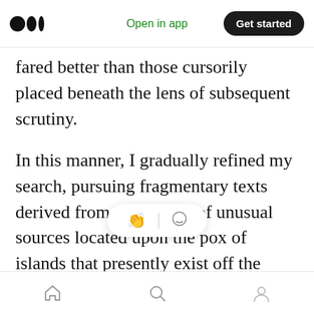Open in app | Get started
fared better than those cursorily placed beneath the lens of subsequent scrutiny.
In this manner, I gradually refined my search, pursuing fragmentary texts derived from a selection of unusual sources located upon the pox of islands that presently exist off the coast of mainland Britain, locations in which monastic communities that had allegedly survived the combination of both conflict and profiteering which must presumably once have purged England of its heri served to have been granted an opportunity to preserve a
Home | Search | Profile